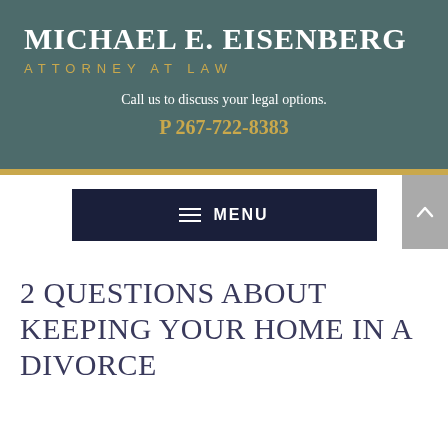MICHAEL E. EISENBERG
ATTORNEY AT LAW
Call us to discuss your legal options.
P 267-722-8383
MENU
2 QUESTIONS ABOUT KEEPING YOUR HOME IN A DIVORCE